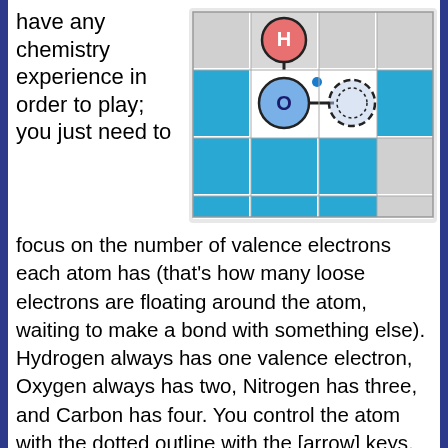have any chemistry experience in order to play; you just need to focus on the number of valence electrons each atom has (that's how many loose electrons are floating around the atom, waiting to make a bond with something else). Hydrogen always has one valence electron, Oxygen always has two, Nitrogen has three, and Carbon has four. You control the atom with the dotted outline with the [arrow] keys. When you move into a square next to another atom, a bond will form between the two of you (assuming you both have a valence electron to spare), and you'll move together as a group. When you connect all of the atoms in one molecule with no electrons left over, you've beaten the
[Figure (screenshot): Game grid showing a 4x4 blue tile grid with a molecule illustration: a pink circle labeled H connected to a blue circle labeled O, which connects to a dashed-outline blue circle representing the player-controlled atom. A small blue dot (electron) is visible near the O atom.]